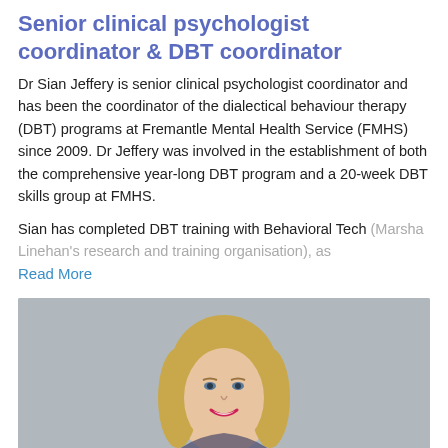Senior clinical psychologist coordinator & DBT coordinator
Dr Sian Jeffery is senior clinical psychologist coordinator and has been the coordinator of the dialectical behaviour therapy (DBT) programs at Fremantle Mental Health Service (FMHS) since 2009. Dr Jeffery was involved in the establishment of both the comprehensive year-long DBT program and a 20-week DBT skills group at FMHS.
Sian has completed DBT training with Behavioral Tech (Marsha Linehan's research and training organisation), as
Read More
[Figure (photo): Professional headshot of a smiling blonde woman against a grey background]